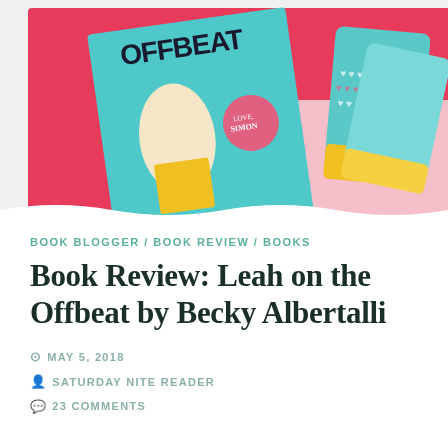[Figure (photo): Photo of 'Leah on the Offbeat' book by Becky Albertalli next to a 'Love, Simon' movie button and heart-patterned socks, on a red and pink background]
BOOK BLOGGER / BOOK REVIEW / BOOKS
Book Review: Leah on the Offbeat by Becky Albertalli
MAY 5, 2018
SATURDAY NITE READER
23 COMMENTS